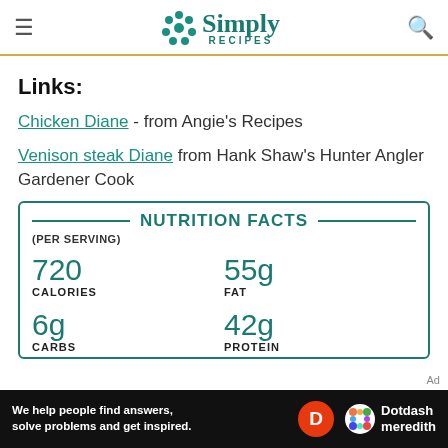Simply Recipes
Links:
Chicken Diane - from Angie's Recipes
Venison steak Diane from Hank Shaw's Hunter Angler Gardener Cook
| NUTRITION FACTS (PER SERVING) |  |
| --- | --- |
| 720 CALORIES | 55g FAT |
| 6g CARBS | 42g PROTEIN |
We help people find answers, solve problems and get inspired. Dotdash meredith